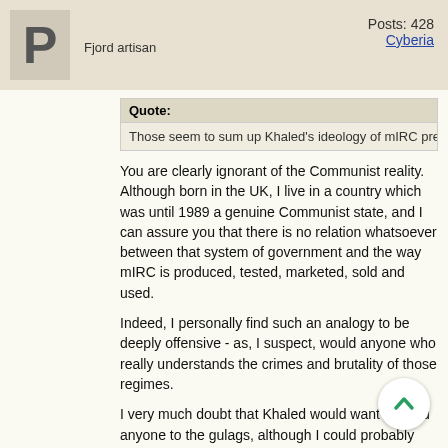P
Fjord artisan
Posts: 428
Cyberia
Quote:
Those seem to sum up Khaled's ideology of mIRC pre
You are clearly ignorant of the Communist reality. Although born in the UK, I live in a country which was until 1989 a genuine Communist state, and I can assure you that there is no relation whatsoever between that system of government and the way mIRC is produced, tested, marketed, sold and used.
Indeed, I personally find such an analogy to be deeply offensive - as, I suspect, would anyone who really understands the crimes and brutality of those regimes.
I very much doubt that Khaled would want to send anyone to the gulags, although I could probably understand this desire on the part of board users/moderators when faced with someone who seems to have nothing better to do than send dozens of moaning messages just because they aren't getting their own way.